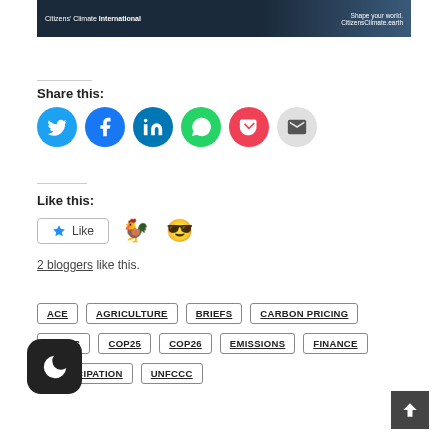[Figure (photo): Banner image showing Citizens' Climate International branding with text 'Shape your world. CitizensClimate.earth' on a dark background with a person's silhouette.]
Share this:
[Figure (infographic): Social sharing icon buttons: Twitter (blue circle), Facebook (blue circle), LinkedIn (blue circle), WhatsApp (green circle), Pocket (red circle), Email (grey circle)]
Like this:
[Figure (screenshot): Like button with star icon and two blogger avatars (chicken emoji and person with sunglasses emoji)]
2 bloggers like this.
ACE
AGRICULTURE
BRIEFS
CARBON PRICING
CIVICS
COP25
COP26
EMISSIONS
FINANCE
PARTICIPATION
UNFCCC